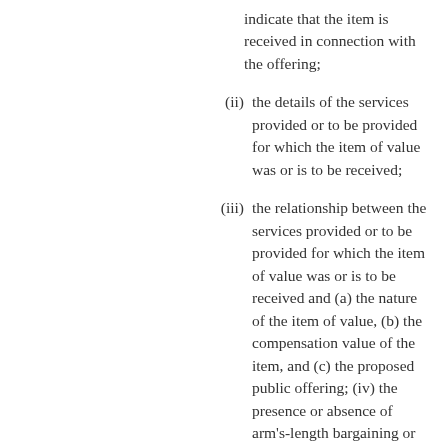indicate that the item is received in connection with the offering;
(ii) the details of the services provided or to be provided for which the item of value was or is to be received;
(iii) the relationship between the services provided or to be provided for which the item of value was or is to be received and (a) the nature of the item of value, (b) the compensation value of the item, and (c) the proposed public offering; (iv) the presence or absence of arm's-length bargaining or the existence of any affiliate relationship between the i…